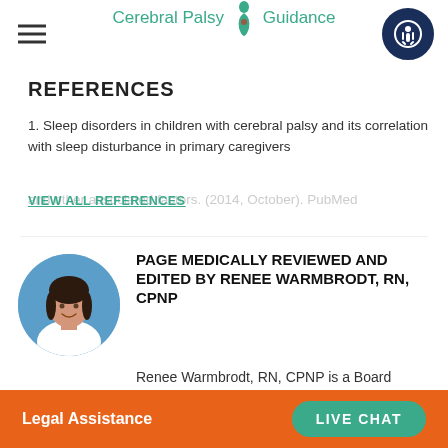Cerebral Palsy Guidance
REFERENCES
1. Sleep disorders in children with cerebral palsy and its correlation with sleep disturbance in primary caregivers and other associated factors. (2014, October). PubMed
VIEW ALL REFERENCES
[Figure (photo): Circular portrait photo of Renee Warmbrodt, RN, CPNP — a woman with dark hair wearing a white coat, smiling against a blue background.]
PAGE MEDICALLY REVIEWED AND EDITED BY RENEE WARMBRODT, RN, CPNP
Renee Warmbrodt, RN, CPNP is a Board Certified Pediatric Nurse Practitioner. She has
Legal Assistance   LIVE CHAT